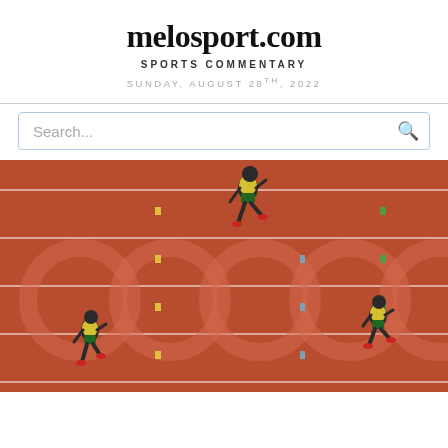melosport.com
SPORTS COMMENTARY
SUNDAY, AUGUST 28TH, 2022
Search...
[Figure (photo): Aerial view of athletes running on an Olympic track with red surface and Olympic rings visible. Three runners in yellow and green Jamaica uniforms are visible at various positions on the track lanes.]